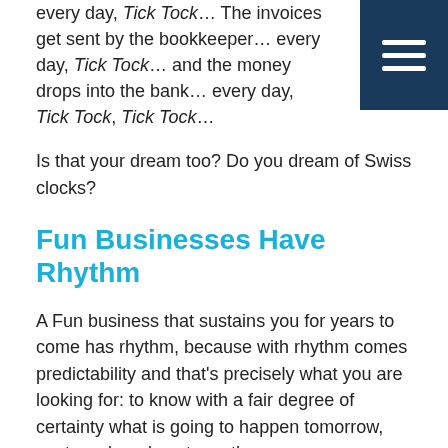every day, Tick Tock… The invoices get sent by the bookkeeper… every day, Tick Tock… and the money drops into the bank… every day, Tick Tock, Tick Tock…
Is that your dream too? Do you dream of Swiss clocks?
Fun Businesses Have Rhythm
A Fun business that sustains you for years to come has rhythm, because with rhythm comes predictability and that's precisely what you are looking for: to know with a fair degree of certainty what is going to happen tomorrow, next week and next month means you can plan and prepare and be pro-active.
Think about it… If you knew with a high degree of accuracy how many contracts you'd sign next month, or how much money would come in the door, or how many widgets you'd produce, or how many emergency callouts you'd have or warranty repairs you'd have to carry out… What difference would that make to how you managed